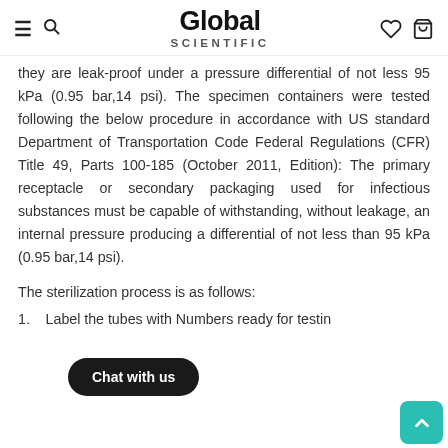Global Scientific
they are leak-proof under a pressure differential of not less 95 kPa (0.95 bar,14 psi). The specimen containers were tested following the below procedure in accordance with US standard Department of Transportation Code Federal Regulations (CFR) Title 49, Parts 100-185 (October 2011, Edition): The primary receptacle or secondary packaging used for infectious substances must be capable of withstanding, without leakage, an internal pressure producing a differential of not less than 95 kPa (0.95 bar,14 psi).
The sterilization process is as follows:
1. Label the tubes with Numbers ready for testing